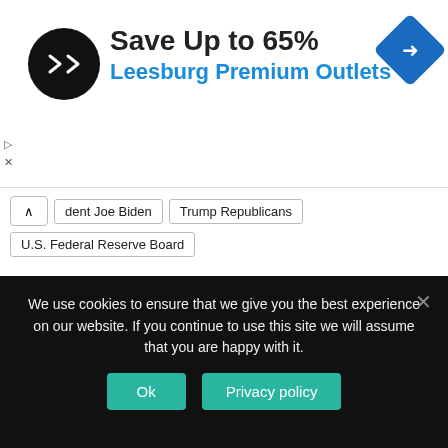[Figure (advertisement): Ad banner: logo circle with arrows icon, headline 'Save Up to 65%', subheadline 'Leesburg Premium Outlets', navigation icon diamond shape top right]
dent Joe Biden
Trump Republicans
U.S. Federal Reserve Board
[Figure (screenshot): Social sharing section with Like 3 button and share icons: Facebook, Twitter, Pinterest, WhatsApp, LinkedIn, Telegram]
We use cookies to ensure that we give you the best experience on our website. If you continue to use this site we will assume that you are happy with it.
Ok   Privacy policy